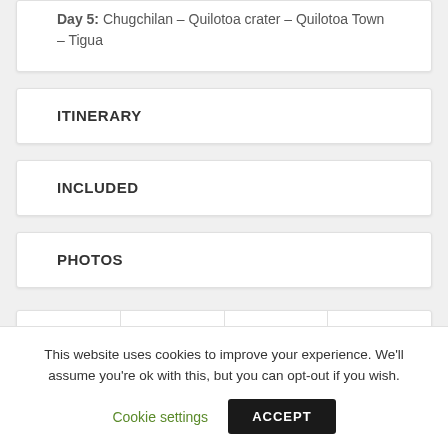Day 5: Chugchilan – Quilotoa crater – Quilotoa Town – Tigua
ITINERARY
INCLUDED
PHOTOS
[Figure (infographic): Social share icons row: Facebook, Twitter, LinkedIn, Pinterest]
This website uses cookies to improve your experience. We'll assume you're ok with this, but you can opt-out if you wish.
Cookie settings   ACCEPT